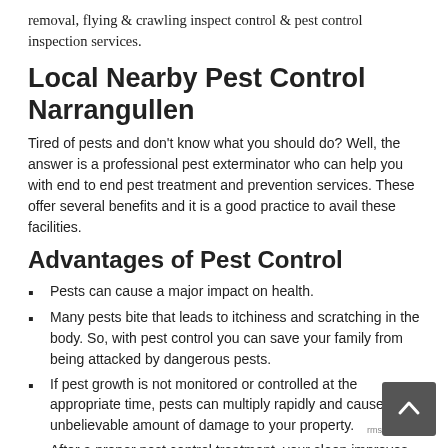removal, flying & crawling inspect control & pest control inspection services.
Local Nearby Pest Control Narrangullen
Tired of pests and don't know what you should do? Well, the answer is a professional pest exterminator who can help you with end to end pest treatment and prevention services. These offer several benefits and it is a good practice to avail these facilities.
Advantages of Pest Control
Pests can cause a major impact on health.
Many pests bite that leads to itchiness and scratching in the body. So, with pest control you can save your family from being attacked by dangerous pests.
If pest growth is not monitored or controlled at the appropriate time, pests can multiply rapidly and cause unbelievable amount of damage to your property.
After a proper pest control treatment, your sleep improves as your health is better and you are conf… that there are no creepy insects crawling at your pl…
Pests can damage the structure of the building to the…